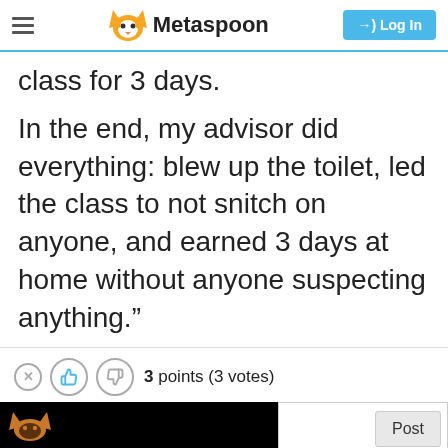Metaspoon | Log In
class for 3 days.
In the end, my advisor did everything: blew up the toilet, led the class to not snitch on anyone, and earned 3 days at home without anyone suspecting anything.”
3 points (3 votes)
[Figure (screenshot): Black box with small fox logo, comment input area with Post button]